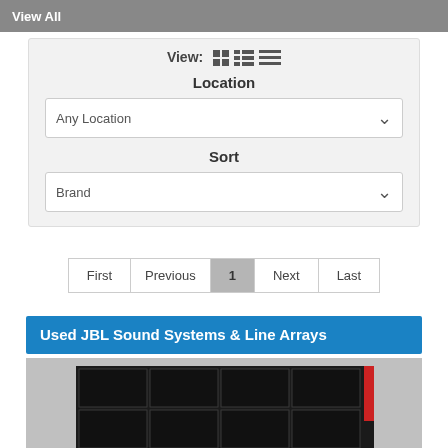View All
View: [grid] [list] [lines]
Location
Any Location
Sort
Brand
First  Previous  1  Next  Last
Used JBL Sound Systems & Line Arrays
[Figure (photo): Photo of stacked JBL speaker cabinets/line array boxes on a gray background]